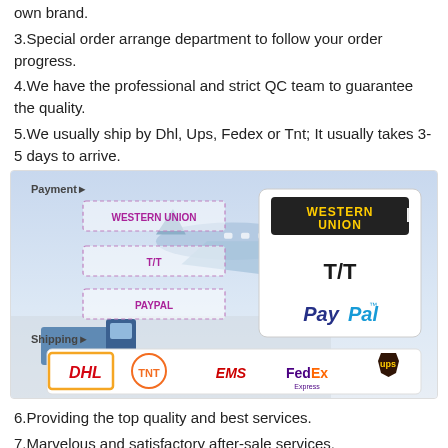own brand.
3.Special order arrange department to follow your order progress.
4.We have the professional and strict QC team to guarantee the quality.
5.We usually ship by Dhl, Ups, Fedex or Tnt; It usually takes 3-5 days to arrive.
[Figure (infographic): Payment and shipping infographic showing Western Union, T/T, PayPal payment options and DHL, TNT, EMS, FedEx, UPS shipping options with airplane and truck imagery.]
6.Providing the top quality and best services.
7.Marvelous and satisfactory after-sale services.